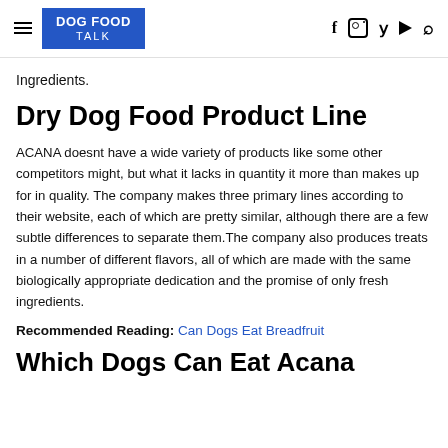DOG FOOD TALK
Ingredients.
Dry Dog Food Product Line
ACANA doesnt have a wide variety of products like some other competitors might, but what it lacks in quantity it more than makes up for in quality. The company makes three primary lines according to their website, each of which are pretty similar, although there are a few subtle differences to separate them.The company also produces treats in a number of different flavors, all of which are made with the same biologically appropriate dedication and the promise of only fresh ingredients.
Recommended Reading: Can Dogs Eat Breadfruit
Which Dogs Can Eat Acana